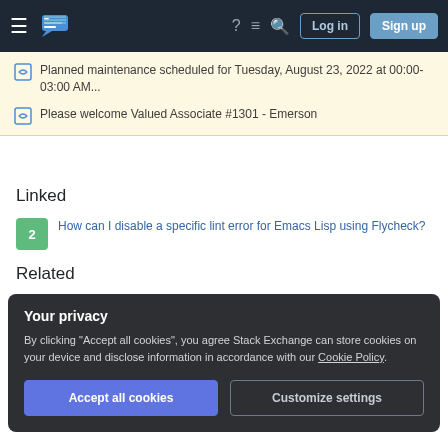Stack Exchange navigation bar with hamburger menu, logo, help, chat, search icons, Log in and Sign up buttons
Planned maintenance scheduled for Tuesday, August 23, 2022 at 00:00-03:00 AM...
Please welcome Valued Associate #1301 - Emerson
Linked
2 — How can I disable a specific lint error for Emacs Lisp using Flycheck?
Related
4 — have flycheck override eldoc faster
Your privacy
By clicking "Accept all cookies", you agree Stack Exchange can store cookies on your device and disclose information in accordance with our Cookie Policy.
Accept all cookies   Customize settings